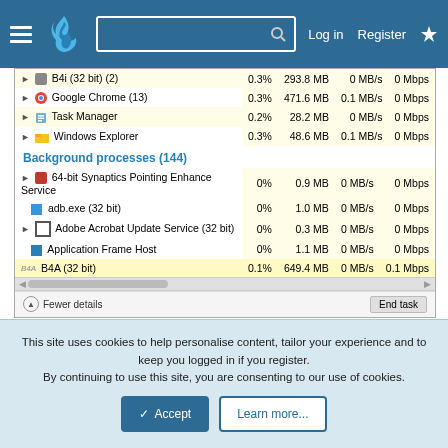[Figure (screenshot): Windows Task Manager screenshot showing process list with B4i (32 bit)(2), Google Chrome (13), Task Manager, Windows Explorer under Apps, and Background processes (144) including 64-bit Synaptics Pointing Enhance Service, adb.exe (32 bit), Adobe Acrobat Update Service (32 bit), Application Frame Host, B4A (32 bit) with CPU/Memory/Disk/Network columns]
So instead of restarting after a freeze, I go to the B4A entry as above, select B4A, and end the task. B4A-Bridge then maintains
This site uses cookies to help personalise content, tailor your experience and to keep you logged in if you register.
By continuing to use this site, you are consenting to our use of cookies.
✓ Accept    Learn more...